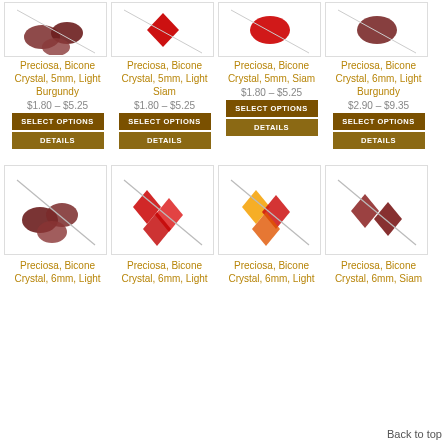[Figure (photo): Preciosa Bicone Crystal 5mm Light Burgundy beads]
[Figure (photo): Preciosa Bicone Crystal 5mm Light Siam beads]
[Figure (photo): Preciosa Bicone Crystal 5mm Siam beads]
[Figure (photo): Preciosa Bicone Crystal 6mm Light Burgundy beads]
Preciosa, Bicone Crystal, 5mm, Light Burgundy
$1.80 – $5.25
Preciosa, Bicone Crystal, 5mm, Light Siam
$1.80 – $5.25
Preciosa, Bicone Crystal, 5mm, Siam
$1.80 – $5.25
Preciosa, Bicone Crystal, 6mm, Light Burgundy
$2.90 – $9.35
[Figure (photo): Preciosa Bicone Crystal 6mm Light beads]
[Figure (photo): Preciosa Bicone Crystal 6mm Light beads]
[Figure (photo): Preciosa Bicone Crystal 6mm Light beads]
[Figure (photo): Preciosa Bicone Crystal 6mm Siam beads]
Preciosa, Bicone Crystal, 6mm, Light
Preciosa, Bicone Crystal, 6mm, Light
Preciosa, Bicone Crystal, 6mm, Light
Preciosa, Bicone Crystal, 6mm, Siam
Back to top